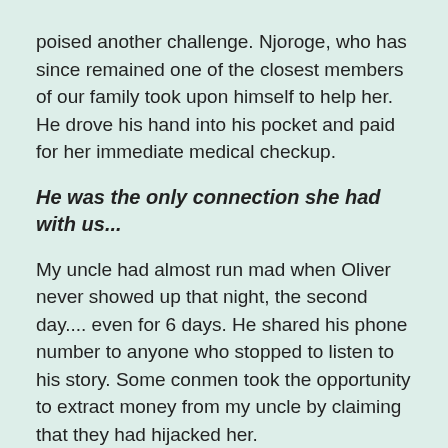poised another challenge. Njoroge, who has since remained one of the closest members of our family took upon himself to help her. He drove his hand into his pocket and paid for her immediate medical checkup.
He was the only connection she had with us...
My uncle had almost run mad when Oliver never showed up that night, the second day.... even for 6 days. He shared his phone number to anyone who stopped to listen to his story. Some conmen took the opportunity to extract money from my uncle by claiming that they had hijacked her.